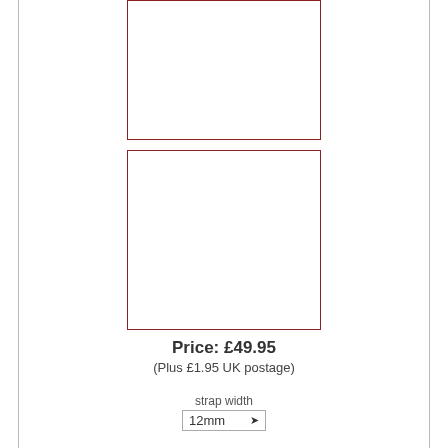[Figure (other): Top product image placeholder box with dark red border, empty white interior]
[Figure (other): Bottom product image placeholder box with dark red border, empty white interior]
Price: £49.95
(Plus £1.95 UK postage)
strap width
12mm